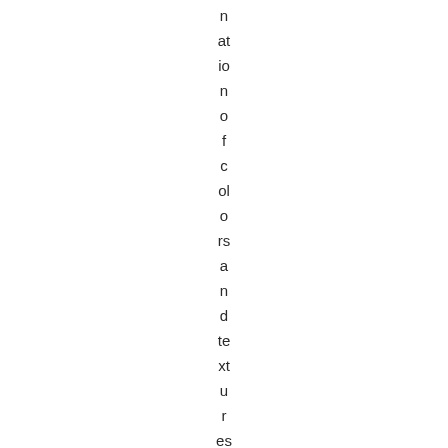n at io n o f c ol o rs a n d te xt u r es F